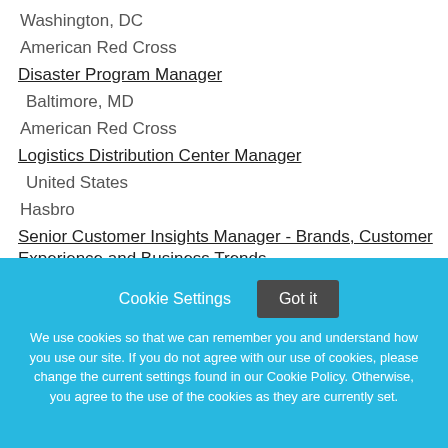Washington, DC
American Red Cross
Disaster Program Manager
Baltimore, MD
American Red Cross
Logistics Distribution Center Manager
United States
Hasbro
Senior Customer Insights Manager - Brands, Customer Experience and Business Trends
Arlington, VA
Cookie Settings
Got it
We use cookies so that we can remember you and understand how you use our site. If you do not agree with our use of cookies, please change the current settings found in our Cookie Policy. Otherwise, you agree to the use of the cookies as they are currently set.